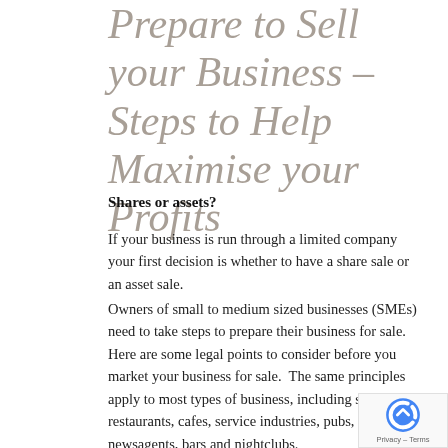Prepare to Sell your Business – Steps to Help Maximise your Profits
Owners of small to medium sized businesses (SMEs) need to take steps to prepare their business for sale.  Here are some legal points to consider before you market your business for sale.  The same principles apply to most types of business, including shops, restaurants, cafes, service industries, pubs, newsagents, bars and nightclubs.
Shares or assets?
If your business is run through a limited company your first decision is whether to have a share sale or an asset sale.